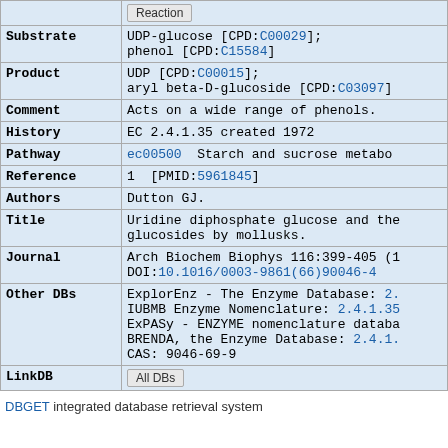| Field | Value |
| --- | --- |
|  | Reaction |
| Substrate | UDP-glucose [CPD:C00029]; phenol [CPD:C15584] |
| Product | UDP [CPD:C00015]; aryl beta-D-glucoside [CPD:C03097] |
| Comment | Acts on a wide range of phenols. |
| History | EC 2.4.1.35 created 1972 |
| Pathway | ec00500  Starch and sucrose metabo... |
| Reference | 1  [PMID:5961845] |
| Authors | Dutton GJ. |
| Title | Uridine diphosphate glucose and the... glucosides by mollusks. |
| Journal | Arch Biochem Biophys 116:399-405 (1... DOI:10.1016/0003-9861(66)90046-4 |
| Other DBs | ExplorEnz - The Enzyme Database: 2... IUBMB Enzyme Nomenclature: 2.4.1.35 ExPASy - ENZYME nomenclature databa... BRENDA, the Enzyme Database: 2.4.1... CAS: 9046-69-9 |
| LinkDB | All DBs |
DBGET integrated database retrieval system